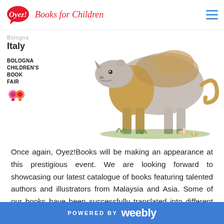Oyez! Books for Children
[Figure (illustration): Bologna Children's Book Fair logo and text on left: 'Bologna Italy' and 'BOLOGNA CHILDREN'S BOOK FAIR' with decorative logo. On the right, an illustrated chimeric animal creature (rhinoceros-like body with golden/brown coloring and a curled tail) standing on grass.]
Once again, Oyez!Books will be making an appearance at this prestigious event. We are looking forward to showcasing our latest catalogue of books featuring talented authors and illustrators from Malaysia and Asia. Some of our books have been successfully translated into different languages such as German, Korean and even Arabic.
POWERED BY weebly